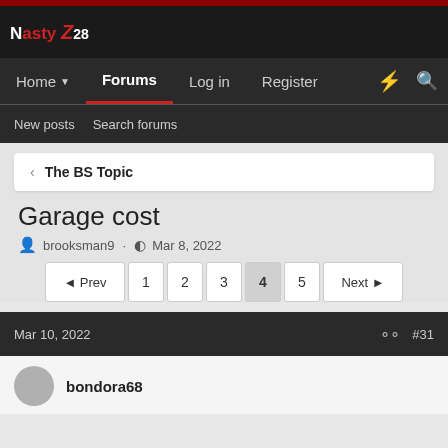NastyZ28 - Forums navigation header
Home · Forums · Log in · Register
New posts  Search forums
< The BS Topic
Garage cost
brooksman9 · Mar 8, 2022
◄ Prev  1  2  3  4  5  Next ►
Mar 10, 2022  #31
bondora68